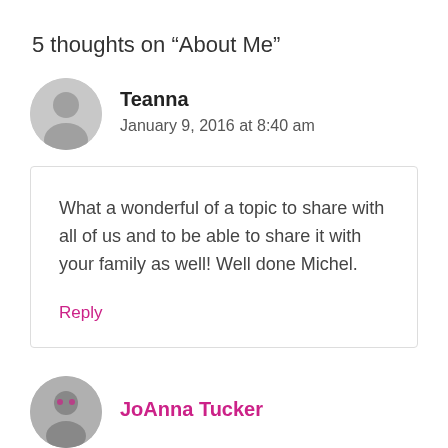5 thoughts on “About Me”
Teanna
January 9, 2016 at 8:40 am
What a wonderful of a topic to share with all of us and to be able to share it with your family as well! Well done Michel.
Reply
JoAnna Tucker